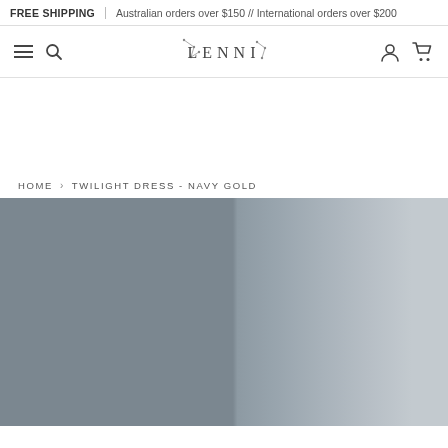FREE SHIPPING | Australian orders over $150 // International orders over $200
[Figure (logo): LENNI brand logo with decorative constellation/star line art surrounding the text]
HOME > TWILIGHT DRESS - NAVY GOLD
[Figure (photo): Product photo placeholder showing grey gradient panels representing the Twilight Dress in Navy Gold colorway]